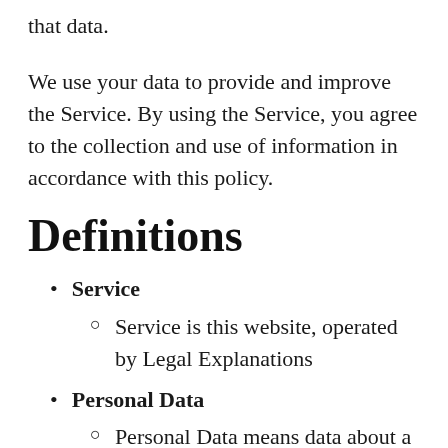that data.
We use your data to provide and improve the Service. By using the Service, you agree to the collection and use of information in accordance with this policy.
Definitions
Service
Service is this website, operated by Legal Explanations
Personal Data
Personal Data means data about a